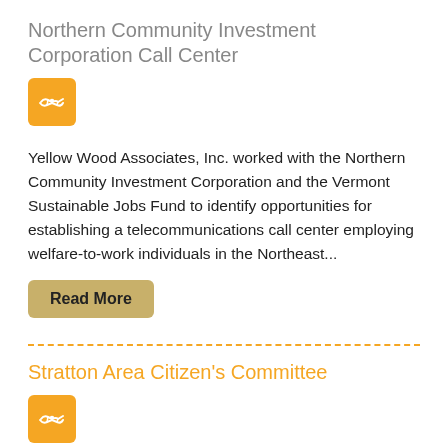Northern Community Investment Corporation Call Center
[Figure (logo): Orange square icon with white handshake/partnership symbol]
Yellow Wood Associates, Inc. worked with the Northern Community Investment Corporation and the Vermont Sustainable Jobs Fund to identify opportunities for establishing a telecommunications call center employing welfare-to-work individuals in the Northeast...
Read More
Stratton Area Citizen's Committee
[Figure (logo): Orange square icon with white handshake/partnership symbol]
Yellow Wood Associates, Inc. researched and analyzed the socio-economic impacts of a proposed expansion of lodging and retail facilities at Stratton Mountain for the Stratton Area Citizen's Committee...